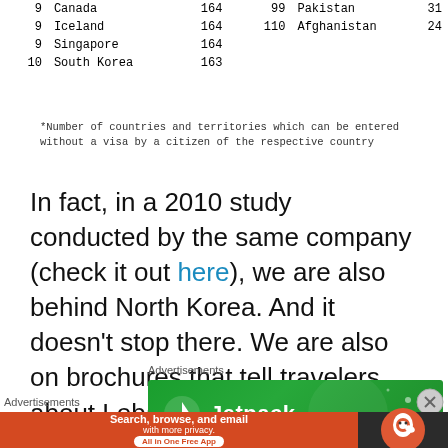| Rank | Country | Score | Rank | Country | Score |
| --- | --- | --- | --- | --- | --- |
| 9 | Canada | 164 | 99 | Pakistan | 31 |
| 9 | Iceland | 164 | 110 | Afghanistan | 24 |
| 9 | Singapore | 164 |  |  |  |
| 10 | South Korea | 163 |  |  |  |
*Number of countries and territories which can be entered without a visa by a citizen of the respective country
In fact, in a 2010 study conducted by the same company (check it out here), we are also behind North Korea. And it doesn't stop there. We are also on brochures that tell travelers about Lebanon being one of the countries with the most visa restrictions.
[Figure (other): Jetpack advertisement banner with green background and Jetpack logo and text]
[Figure (other): DuckDuckGo advertisement banner with orange left side saying 'Search, browse, and email with more privacy. All in One Free App' and dark right side with DuckDuckGo logo]